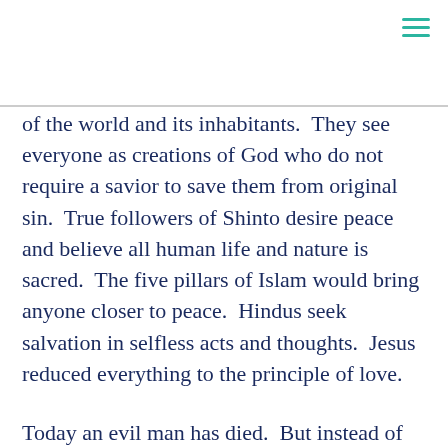of the world and its inhabitants.  They see everyone as creations of God who do not require a savior to save them from original sin.  True followers of Shinto desire peace and believe all human life and nature is sacred.  The five pillars of Islam would bring anyone closer to peace.  Hindus seek salvation in selfless acts and thoughts.  Jesus reduced everything to the principle of love.
Today an evil man has died.  But instead of breaking out the champagne and party favors, maybe we should break out the prayer books and reflect on those virtues of reciprocity, compassion, good deeds, peace, goodness, salvation, and love.